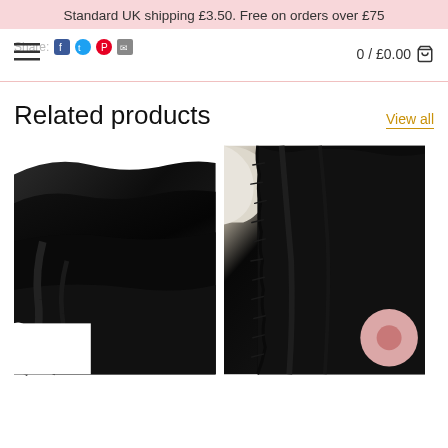Standard UK shipping £3.50. Free on orders over £75
Share:
0 / £0.00 🛒
Related products
View all
[Figure (photo): Close-up of black fabric/fleece rolled, on white background]
[Figure (photo): Close-up of black fabric with frayed edges, cream/white roll visible, pink chat bubble icon in corner]